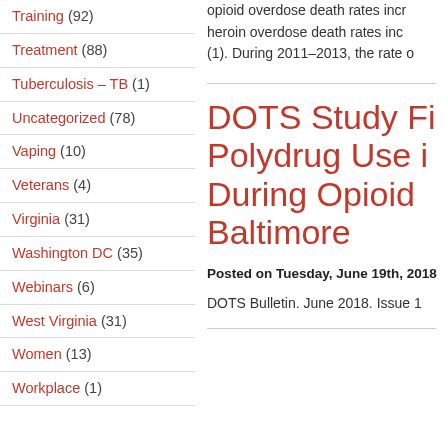Training (92)
Treatment (88)
Tuberculosis – TB (1)
Uncategorized (78)
Vaping (10)
Veterans (4)
Virginia (31)
Washington DC (35)
Webinars (6)
West Virginia (31)
Women (13)
Workplace (1)
opioid overdose death rates incr heroin overdose death rates inc (1). During 2011–2013, the rate o
DOTS Study Fi Polydrug Use i During Opioid Baltimore
Posted on Tuesday, June 19th, 2018
DOTS Bulletin. June 2018. Issue 1